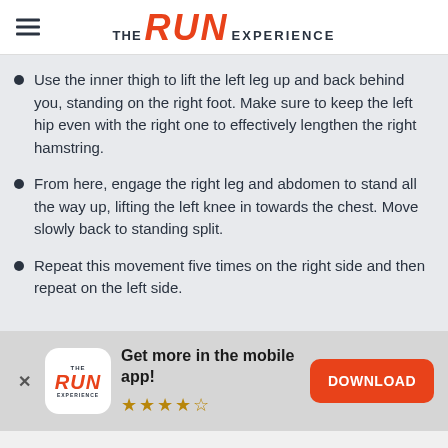THE RUN EXPERIENCE
Use the inner thigh to lift the left leg up and back behind you, standing on the right foot. Make sure to keep the left hip even with the right one to effectively lengthen the right hamstring.
From here, engage the right leg and abdomen to stand all the way up, lifting the left knee in towards the chest. Move slowly back to standing split.
Repeat this movement five times on the right side and then repeat on the left side.
Get more in the mobile app! DOWNLOAD